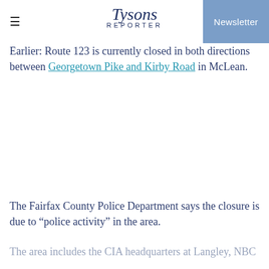Tysons Reporter — Newsletter
Earlier: Route 123 is currently closed in both directions between Georgetown Pike and Kirby Road in McLean.
The Fairfax County Police Department says the closure is due to "police activity" in the area.
The area includes the CIA headquarters at Langley, NBC